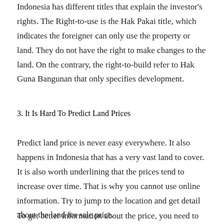Indonesia has different titles that explain the investor's rights. The Right-to-use is the Hak Pakai title, which indicates the foreigner can only use the property or land. They do not have the right to make changes to the land. On the contrary, the right-to-build refer to Hak Guna Bangunan that only specifies development.
3. It Is Hard To Predict Land Prices
Predict land price is never easy everywhere. It also happens in Indonesia that has a very vast land to cover. It is also worth underlining that the prices tend to increase over time. That is why you cannot use online information. Try to jump to the location and get detail about the land for sale price.
To get better information about the price, you need to